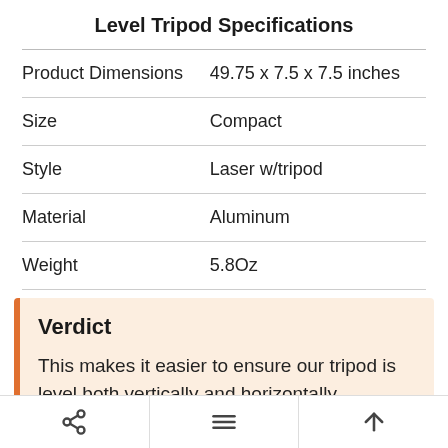|  |  |
| --- | --- |
| Product Dimensions | 49.75 x 7.5 x 7.5 inches |
| Size | Compact |
| Style | Laser w/tripod |
| Material | Aluminum |
| Weight | 5.8Oz |
Verdict
This makes it easier to ensure our tripod is level both vertically and horizontally.
See at Amazon